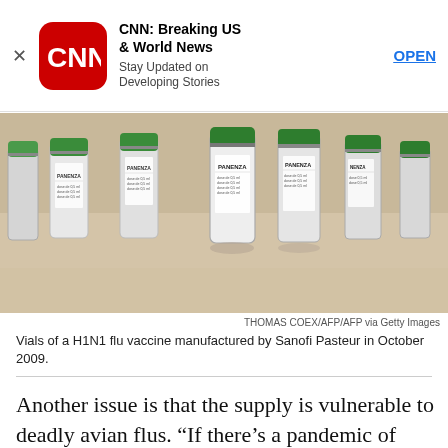[Figure (screenshot): CNN app advertisement banner with red CNN logo, app name 'CNN: Breaking US & World News', subtitle 'Stay Updated on Developing Stories', and OPEN button]
[Figure (photo): Multiple vials of PANENZA H1N1 flu vaccine manufactured by Sanofi Pasteur with green caps arranged on a surface]
THOMAS COEX/AFP/AFP via Getty Images
Vials of a H1N1 flu vaccine manufactured by Sanofi Pasteur in October 2009.
Another issue is that the supply is vulnerable to deadly avian flus. “If there’s a pandemic of H5N1 (avian influenza), it can kill chickens substantially and there will be a huge drop in egg supply, and you